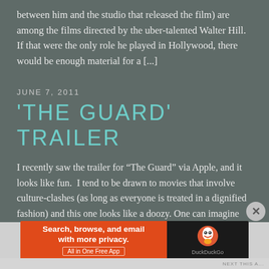between him and the studio that released the film) are among the films directed by the uber-talented Walter Hill.  If that were the only role he played in Hollywood, there would be enough material for a [...]
JUNE 7, 2011
'THE GUARD' TRAILER
I recently saw the trailer for “The Guard” via Apple, and it looks like fun.  I tend to be drawn to movies that involve culture-clashes (as long as everyone is treated in a dignified fashion) and this one looks like a doozy. One can imagine that Don Cheadle’s FBI
[Figure (screenshot): DuckDuckGo advertisement banner: orange left section reads 'Search, browse, and email with more privacy. All in One Free App' with white text; black right section shows DuckDuckGo duck logo and brand name.]